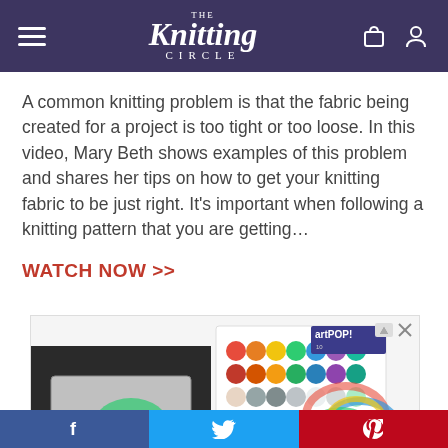The Knitting Circle
A common knitting problem is that the fabric being created for a project is too tight or too loose. In this video, Mary Beth shows examples of this problem and shares her tips on how to get your knitting fabric to be just right. It’s important when following a knitting pattern that you are getting…
WATCH NOW >>
[Figure (photo): Advertisement showing artPOP! art supply products including colored dot stickers, colored markers, and art supplies boxes on a dark background.]
Facebook | Twitter | Pinterest social share buttons